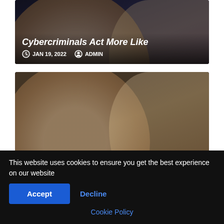[Figure (photo): Partial view of an article card about cybercriminals, dark background, showing bottom portion with title text and metadata]
Cybercriminals Act More Like
JAN 19, 2022  ADMIN
[Figure (photo): Photo of two women looking at a laptop screen, one pointing at the screen, office/educational environment with warm background lighting]
CAREERS AND EMPLOYMENT  TECHNOLOGY
Didagtica.com | Invest in Technology — But Don't
JAN 17, 2022  ADMIN
This website uses cookies to ensure you get the best experience on our website
Accept
Decline
Cookie Policy